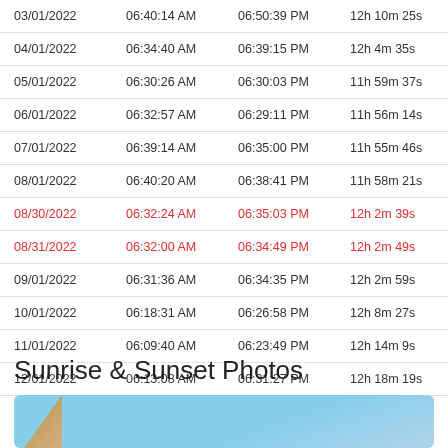| Date | Sunrise | Sunset | Day Length |
| --- | --- | --- | --- |
| 03/01/2022 | 06:40:14 AM | 06:50:39 PM | 12h 10m 25s |
| 04/01/2022 | 06:34:40 AM | 06:39:15 PM | 12h 4m 35s |
| 05/01/2022 | 06:30:26 AM | 06:30:03 PM | 11h 59m 37s |
| 06/01/2022 | 06:32:57 AM | 06:29:11 PM | 11h 56m 14s |
| 07/01/2022 | 06:39:14 AM | 06:35:00 PM | 11h 55m 46s |
| 08/01/2022 | 06:40:20 AM | 06:38:41 PM | 11h 58m 21s |
| 08/30/2022 | 06:32:24 AM | 06:35:03 PM | 12h 2m 39s |
| 08/31/2022 | 06:32:00 AM | 06:34:49 PM | 12h 2m 49s |
| 09/01/2022 | 06:31:36 AM | 06:34:35 PM | 12h 2m 59s |
| 10/01/2022 | 06:18:31 AM | 06:26:58 PM | 12h 8m 27s |
| 11/01/2022 | 06:09:40 AM | 06:23:49 PM | 12h 14m 9s |
| 12/01/2022 | 06:13:08 AM | 06:31:27 PM | 12h 18m 19s |
Sunrise & Sunset Photos
[Figure (photo): Sunrise or sunset photo with blue sky and diagonal orange/brown element]